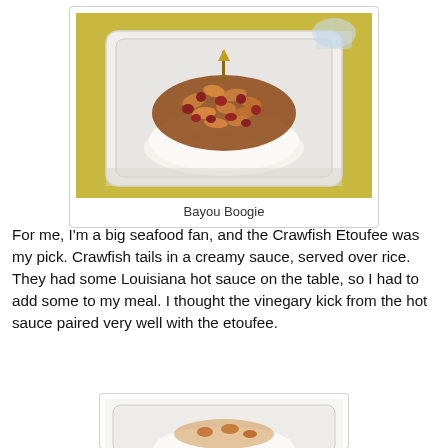[Figure (photo): Photo of crawfish etoufee served over rice in a white styrofoam to-go container, placed on a yellow tablecloth. The dish shows crawfish tails and beans in sauce over white rice.]
Bayou Boogie
For me, I'm a big seafood fan, and the Crawfish Etoufee was my pick. Crawfish tails in a creamy sauce, served over rice. They had some Louisiana hot sauce on the table, so I had to add some to my meal. I thought the vinegary kick from the hot sauce paired very well with the etoufee.
[Figure (photo): Partial photo of another food item in a white styrofoam to-go container, partially cut off at bottom of page.]